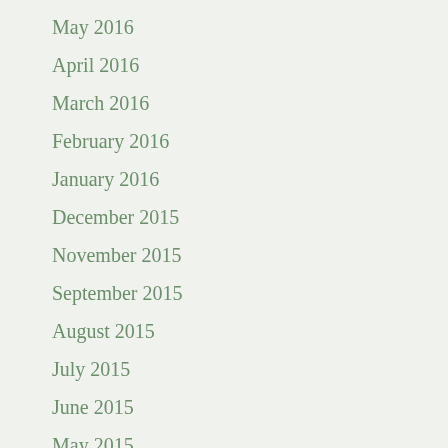May 2016
April 2016
March 2016
February 2016
January 2016
December 2015
November 2015
September 2015
August 2015
July 2015
June 2015
May 2015
April 2015
March 2015
February 2015
January 2015
December 2014